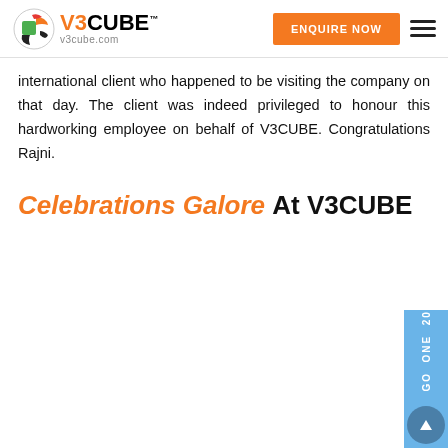V3CUBE — v3cube.com — ENQUIRE NOW
international client who happened to be visiting the company on that day. The client was indeed privileged to honour this hardworking employee on behalf of V3CUBE. Congratulations Rajni.
Celebrations Galore At V3CUBE